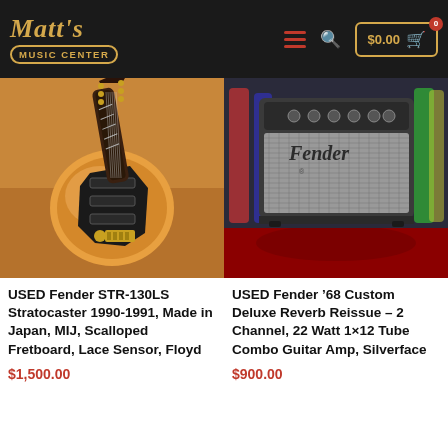Matt's Music Center — $0.00 cart
[Figure (photo): Photo of a Used Fender STR-130LS Stratocaster guitar 1990-1991, amber/orange sunburst finish, made in Japan, on a tan leather couch]
USED Fender STR-130LS Stratocaster 1990-1991, Made in Japan, MIJ, Scalloped Fretboard, Lace Sensor, Floyd
$1,500.00
[Figure (photo): Photo of a Used Fender '68 Custom Deluxe Reverb Reissue amplifier, silverface combo amp, on a red patterned rug in a music store]
USED Fender ’68 Custom Deluxe Reverb Reissue – 2 Channel, 22 Watt 1×12 Tube Combo Guitar Amp, Silverface
$900.00